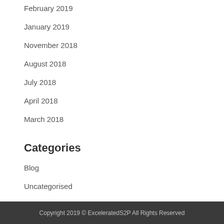February 2019
January 2019
November 2018
August 2018
July 2018
April 2018
March 2018
Categories
Blog
Uncategorised
Copyright 2019 © ExceleratedS2P All Rights Reserved